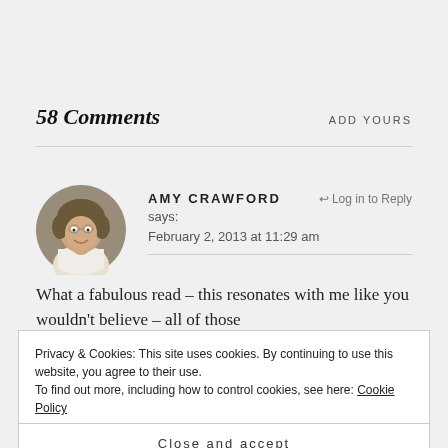58 Comments
ADD YOURS
[Figure (photo): Circular avatar photo of Amy Crawford, a woman with curly hair smiling, wearing a white tank top]
AMY CRAWFORD says:   ↩ Log in to Reply
February 2, 2013 at 11:29 am
What a fabulous read – this resonates with me like you wouldn't believe – all of those
Privacy & Cookies: This site uses cookies. By continuing to use this website, you agree to their use.
To find out more, including how to control cookies, see here: Cookie Policy
Close and accept
learning to laugh again, from deep down